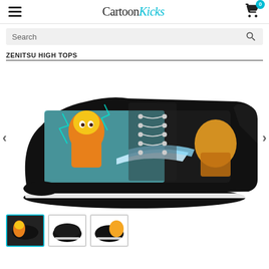CartoonKicks
Search
ZENITSU HIGH TOPS
[Figure (photo): High-top sneaker with anime Zenitsu from Demon Slayer artwork printed on the side, black sole, lace-up style, on white background. Left and right carousel arrows visible.]
[Figure (photo): Three thumbnail images of the Zenitsu High Tops sneaker from different angles at the bottom of the page.]